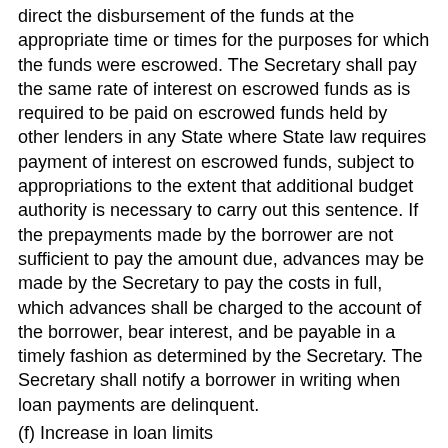direct the disbursement of the funds at the appropriate time or times for the purposes for which the funds were escrowed. The Secretary shall pay the same rate of interest on escrowed funds as is required to be paid on escrowed funds held by other lenders in any State where State law requires payment of interest on escrowed funds, subject to appropriations to the extent that additional budget authority is necessary to carry out this sentence. If the prepayments made by the borrower are not sufficient to pay the amount due, advances may be made by the Secretary to pay the costs in full, which advances shall be charged to the account of the borrower, bear interest, and be payable in a timely fashion as determined by the Secretary. The Secretary shall notify a borrower in writing when loan payments are delinquent.
(f) Increase in loan limits
With respect to any limitation on the amount of any loan which may be made, insured, or guaranteed under this subchapter for the purchase of a dwelling unit, the Secretary may increase such amount by up to 20 percent if such increase is necessary to account for the increased cost of the dwelling unit due to the installation of a solar energy system (as defined in subparagraph (3) of the last paragraph of section 1703 (a) of title 12) therein.
(g) Avoidance of involuntary displacement of families and businesses
The programs authorized by this subchapter shall be carried out, consistent with program goals and objectives, so that the involuntary